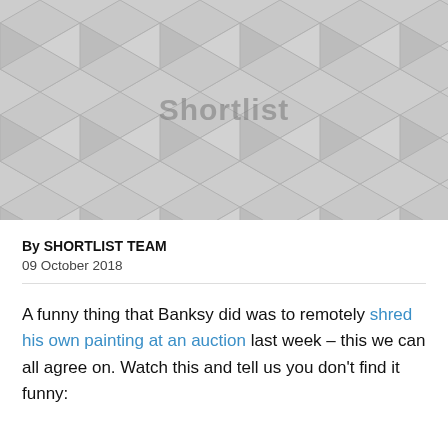[Figure (illustration): Grey geometric cube/hexagon tiling pattern background with 'Shortlist' watermark text centered]
By SHORTLIST TEAM
09 October 2018
A funny thing that Banksy did was to remotely shred his own painting at an auction last week – this we can all agree on. Watch this and tell us you don't find it funny: